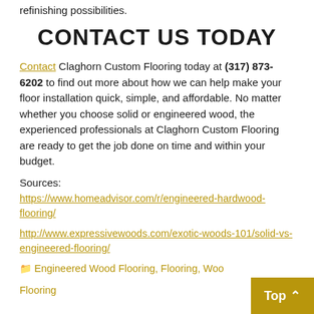refinishing possibilities.
CONTACT US TODAY
Contact Claghorn Custom Flooring today at (317) 873-6202 to find out more about how we can help make your floor installation quick, simple, and affordable. No matter whether you choose solid or engineered wood, the experienced professionals at Claghorn Custom Flooring are ready to get the job done on time and within your budget.
Sources:
https://www.homeadvisor.com/r/engineered-hardwood-flooring/
http://www.expressivewoods.com/exotic-woods-101/solid-vs-engineered-flooring/
Engineered Wood Flooring, Flooring, Wood Flooring